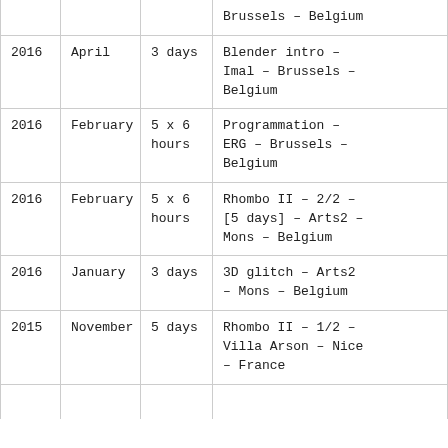| Year | Month | Duration | Event |
| --- | --- | --- | --- |
|  |  |  | Brussels - Belgium |
| 2016 | April | 3 days | Blender intro - Imal - Brussels - Belgium |
| 2016 | February | 5 x 6 hours | Programmation - ERG - Brussels - Belgium |
| 2016 | February | 5 x 6 hours | Rhombo II - 2/2 - [5 days] - Arts2 - Mons - Belgium |
| 2016 | January | 3 days | 3D glitch - Arts2 - Mons - Belgium |
| 2015 | November | 5 days | Rhombo II - 1/2 - Villa Arson - Nice - France |
|  |  |  |  |